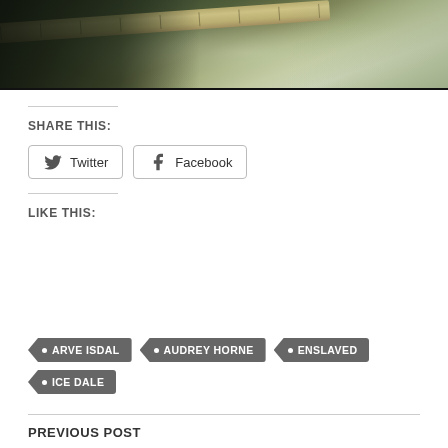[Figure (photo): Black and white / dark green toned photo of a guitarist playing electric guitar with fog or smoke in the background]
SHARE THIS:
Twitter
Facebook
LIKE THIS:
ARVE ISDAL
AUDREY HORNE
ENSLAVED
ICE DALE
PREVIOUS POST